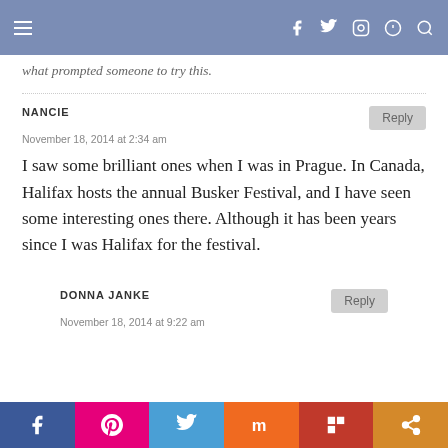Navigation header with hamburger menu and social icons
what prompted someone to try this.
NANCIE
November 18, 2014 at 2:34 am
I saw some brilliant ones when I was in Prague. In Canada, Halifax hosts the annual Busker Festival, and I have seen some interesting ones there. Although it has been years since I was Halifax for the festival.
DONNA JANKE
November 18, 2014 at 9:22 am
Social share bar: Facebook, Pinterest, Twitter, Mix, Flipboard, Share